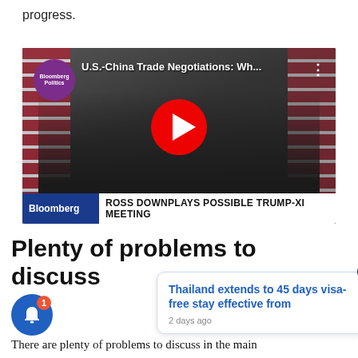progress.
[Figure (screenshot): Bloomberg Politics YouTube video thumbnail showing U.S.-China Trade Negotiations with Trump and Xi shaking hands, with lower bar reading 'ROSS DOWNPLAYS POSSIBLE TRUMP-XI MEETING']
Plenty of problems to discuss
[Figure (screenshot): Notification popup: 'Thailand extends to 45 days visa-free stay effective from' with '2 days ago' timestamp and close X button]
There are plenty of problems to discuss in the main